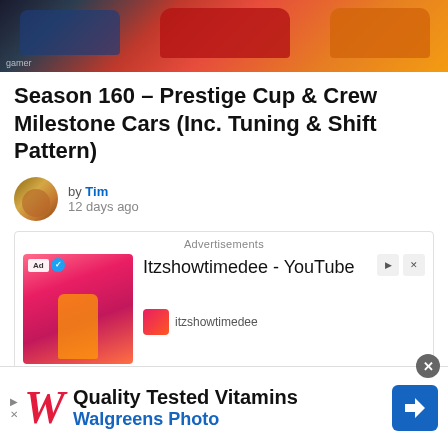[Figure (screenshot): Header banner image showing racing cars including a blue car on left, red sports car in center, and orange car on right with 'gamer' watermark in bottom left]
Season 160 – Prestige Cup & Crew Milestone Cars (Inc. Tuning & Shift Pattern)
by Tim
12 days ago
[Figure (screenshot): Advertisement banner for Itzshowtimedee YouTube channel with red/pink background showing a basketball player figure, Ad badge, verified checkmark, channel icon, and OPEN button]
[Figure (screenshot): Bottom advertisement for Walgreens Photo showing Quality Tested Vitamins text with Walgreens cursive W logo, navigation arrow icon]